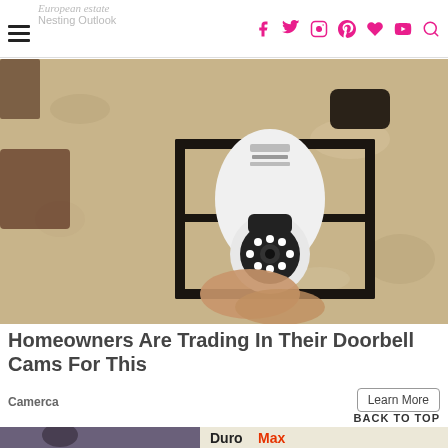European estate / Nesting Outlook
[Figure (photo): A person installing a security camera shaped like a light bulb into an outdoor black lantern-style wall fixture mounted on a textured stucco wall.]
Homeowners Are Trading In Their Doorbell Cams For This
Camerca
Learn More
BACK TO TOP
[Figure (photo): Bottom strip: partial image of a person on the left, and DuroMax logo on the right.]